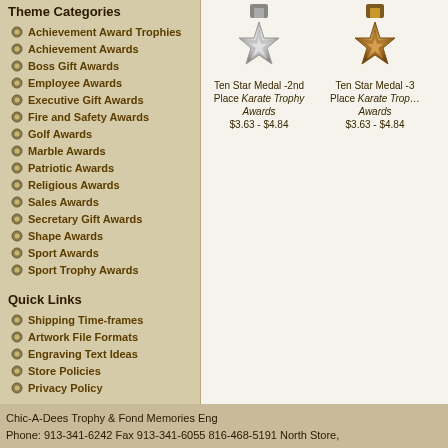Theme Categories
Achievement Award Trophies
Achievement Awards
Boss Gift Awards
Employee Awards
Executive Gift Awards
Fire and Safety Awards
Golf Awards
Marble Awards
Patriotic Awards
Religious Awards
Sales Awards
Secretary Gift Awards
Shape Awards
Sport Awards
Sport Trophy Awards
Quick Links
Shipping Time-frames
Artwork File Formats
Engraving Text Ideas
Store Policies
Privacy Policy
[Figure (photo): Ten Star Medal - 2nd Place Karate Trophy Awards, silver/chrome star medal]
Ten Star Medal -2nd Place Karate Trophy Awards
$3.63 - $4.84
[Figure (photo): Ten Star Medal - 3rd Place Karate Trophy Awards, bronze star medal]
Ten Star Medal -3rd Place Karate Trophy Awards
$3.63 - $4.84
Chic-A-Dees Trophy & Fond Memories Eng
Phone: 913-341-6242 Fax 913-341-6055 816-468-5191 North Store,
Hours: 8am -5:30pm Mon-Thurs 8am-4pm Friday